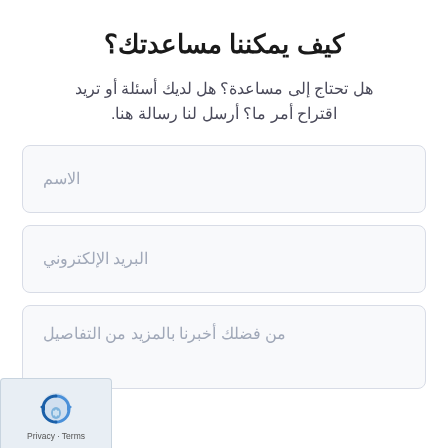كيف يمكننا مساعدتك؟
هل تحتاج إلى مساعدة؟ هل لديك أسئلة أو تريد اقتراح أمر ما؟ أرسل لنا رسالة هنا.
الاسم
البريد الإلكتروني
من فضلك أخبرنا بالمزيد من التفاصيل
[Figure (logo): Google reCAPTCHA badge with Privacy and Terms links]